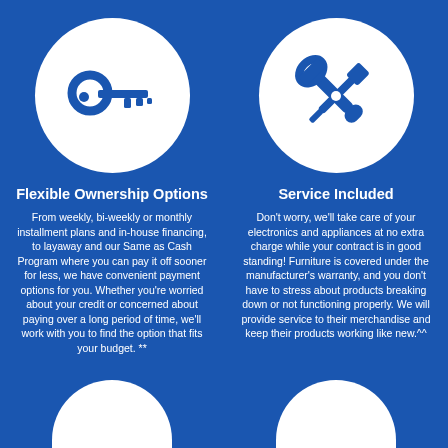[Figure (illustration): White circle on blue background containing a white key icon (house/ownership key)]
[Figure (illustration): White circle on blue background containing crossed screwdriver and wrench tools icon]
Flexible Ownership Options
Service Included
From weekly, bi-weekly or monthly installment plans and in-house financing, to layaway and our Same as Cash Program where you can pay it off sooner for less, we have convenient payment options for you. Whether you're worried about your credit or concerned about paying over a long period of time, we'll work with you to find the option that fits your budget. **
Don't worry, we'll take care of your electronics and appliances at no extra charge while your contract is in good standing! Furniture is covered under the manufacturer's warranty, and you don't have to stress about products breaking down or not functioning properly. We will provide service to their merchandise and keep their products working like new.^^
[Figure (illustration): Partial white semicircle at bottom left, partially visible]
[Figure (illustration): Partial white semicircle at bottom right, partially visible]